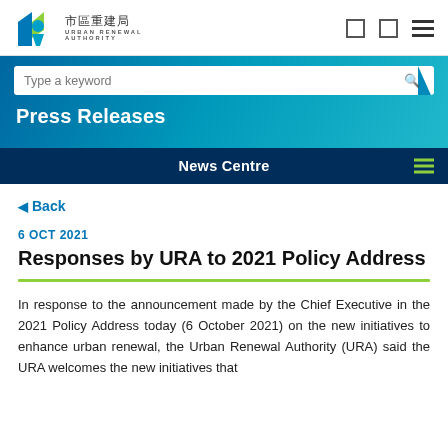Urban Renewal Authority 市區重建局
Type a keyword
Press Releases
News Centre
◄ Back
6 OCT 2021
Responses by URA to 2021 Policy Address
In response to the announcement made by the Chief Executive in the 2021 Policy Address today (6 October 2021) on the new initiatives to enhance urban renewal, the Urban Renewal Authority (URA) said the URA welcomes the new initiatives that